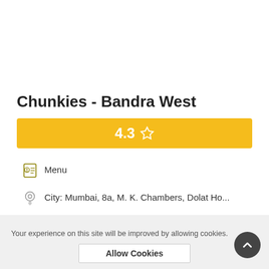Chunkies - Bandra West
4.3 ☆
Menu
City: Mumbai, 8a, M. K. Chambers, Dolat Ho...
You can easily get a reservation done with calling the restaurant (+91)9344123123.
Your experience on this site will be improved by allowing cookies.
Allow Cookies